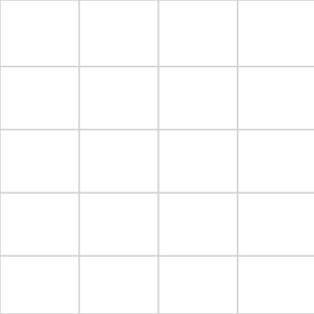BAIT & SWITCH! ***** PLUS READ BELOW HOW CAN RALLY TOGETHER TO PUT COUNTRYWIDE OUT OF BUSINE ********
If you are a first time homebuyer ho that your mortgage company will lo out for your best interest, treat you respect, and earn your trust... then STAY AWAY FROM COUNTRYWIDE
BOTTOM LINE: CHL actually adm that it is acceptable to say whatever want on a GFE, then drastically dev from that in the contract and hope y don't find it. If you miss it and sign, you're screwed and they don't give a f*** about you or your situation.
In all fairness, my mortgage lender good man that made an honest mist he printed my Good Faith Estimate program that failed to include a pri rate on the 20% of my 80/20 mortga So I was told on the GFE that my r